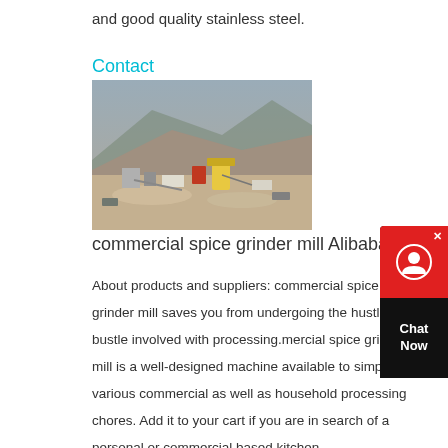and good quality stainless steel.
Contact
[Figure (photo): Aerial or distant view of an industrial mining or quarrying site with machinery and equipment on sandy/rocky terrain.]
commercial spice grinder mill Alibaba
About products and suppliers: commercial spice grinder mill saves you from undergoing the hustle and bustle involved with processing.mercial spice grinder mill is a well-designed machine available to simplify various commercial as well as household processing chores. Add it to your cart if you are in search of a personal or commercial based kitchen